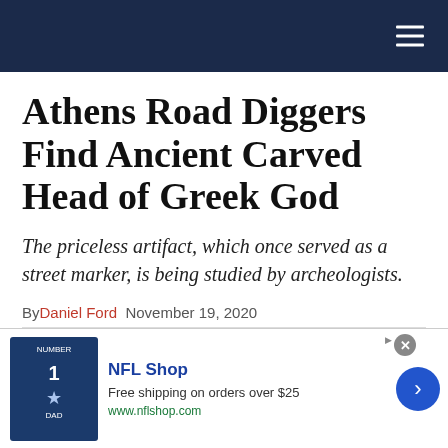Navigation bar with hamburger menu
Athens Road Diggers Find Ancient Carved Head of Greek God
The priceless artifact, which once served as a street marker, is being studied by archeologists.
By Daniel Ford  November 19, 2020
Facebook  Twitter  Linkedin  Email
[Figure (photo): Partial view of the ancient carved head artifact]
[Figure (other): NFL Shop advertisement: Free shipping on orders over $25. www.nflshop.com]